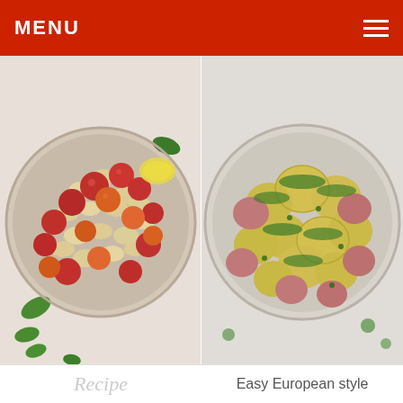MENU
[Figure (photo): Overhead view of a bowl of orecchiette pasta with cherry tomatoes (red and orange), basil leaves, on a white marble surface]
[Figure (photo): Overhead view of a bowl of small potatoes tossed with parsley and herbs, with red and yellow baby potatoes visible]
Orecchiette Bruschetta Pasta
Parsley Potatoes Recipe
Recipe   Easy European style